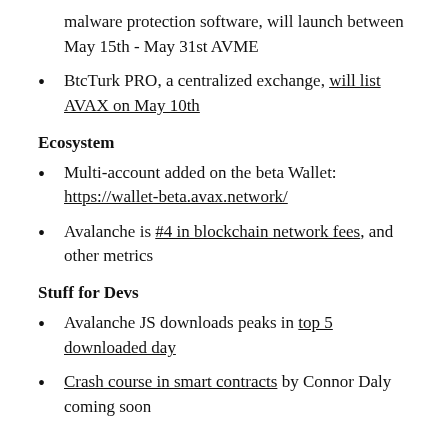malware protection software, will launch between May 15th - May 31st AVME
BtcTurk PRO, a centralized exchange, will list AVAX on May 10th
Ecosystem
Multi-account added on the beta Wallet: https://wallet-beta.avax.network/
Avalanche is #4 in blockchain network fees, and other metrics
Stuff for Devs
Avalanche JS downloads peaks in top 5 downloaded day
Crash course in smart contracts by Connor Daly coming soon